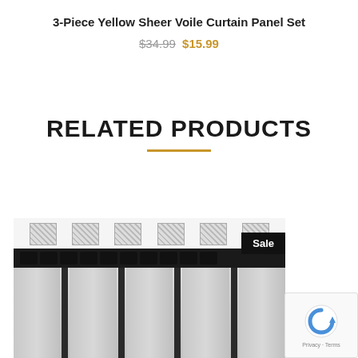3-Piece Yellow Sheer Voile Curtain Panel Set
$34.99 $15.99
RELATED PRODUCTS
[Figure (photo): Curtain panel product photo showing white and dark green/black curtain panels with decorative top band, with a Sale badge in the top-right corner]